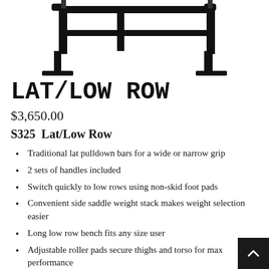[Figure (photo): Top portion of a Lat/Low Row exercise machine frame shown in black metal, partial view cropped at top of page]
LAT/LOW ROW
$3,650.00
S325  Lat/Low Row
Traditional lat pulldown bars for a wide or narrow grip
2 sets of handles included
Switch quickly to low rows using non-skid foot pads
Convenient side saddle weight stack makes weight selection easier
Long low row bench fits any size user
Adjustable roller pads secure thighs and torso for max performance